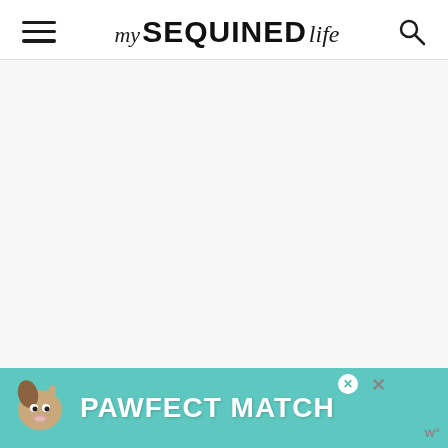my SEQUINED life
[Figure (other): Large blank/white content area below the header, representing an empty page body or loading state]
[Figure (infographic): Advertisement banner at the bottom featuring a dog illustration and text 'PAWFECT MATCH' on a teal background with close buttons]